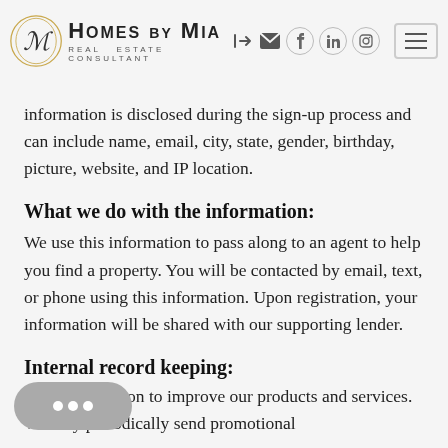Homes by Mia – Real Estate Consultant – navigation header
information is disclosed during the sign-up process and can include name, email, city, state, gender, birthday, picture, website, and IP location.
What we do with the information:
We use this information to pass along to an agent to help you find a property. You will be contacted by email, text, or phone using this information. Upon registration, your information will be shared with our supporting lender.
Internal record keeping:
e the information to improve our products and services. We may periodically send promotional